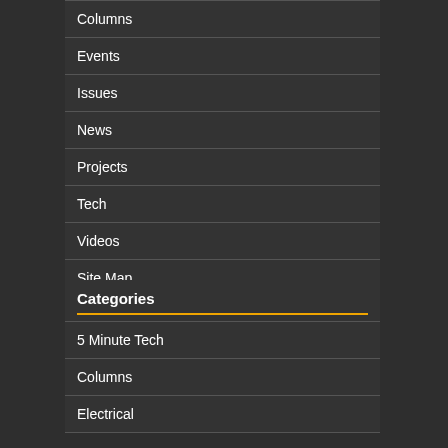Columns
Events
Issues
News
Projects
Tech
Videos
Site Map
Contact Us
Newsletter
Categories
5 Minute Tech
Columns
Electrical